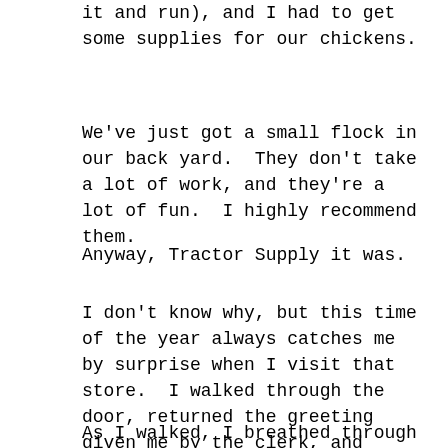it and run), and I had to get some supplies for our chickens.
We've just got a small flock in our back yard.  They don't take a lot of work, and they're a lot of fun.  I highly recommend them.
Anyway, Tractor Supply it was.
I don't know why, but this time of the year always catches me by surprise when I visit that store.  I walked through the door, returned the greeting given me by the clerk, and headed down the main aisle past the air compressors and garden tools.
As I walked, I breathed through a variety of smells,